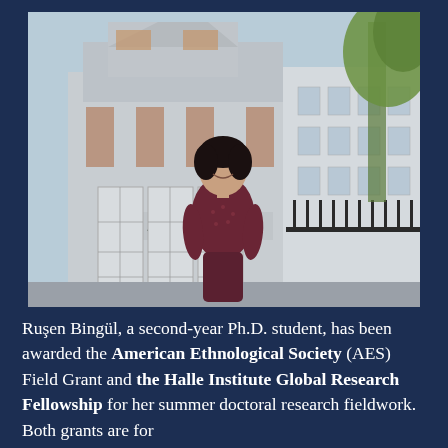[Figure (photo): A young woman with short dark hair wearing a dark floral top stands smiling in front of a building with 'ANTHROPOLOGY' written on its facade. The building has large white doors and a modern concrete exterior. Trees are visible on the right side of the background.]
Ruşen Bingül, a second-year Ph.D. student, has been awarded the American Ethnological Society (AES) Field Grant and the Halle Institute Global Research Fellowship for her summer doctoral research fieldwork. Both grants are for